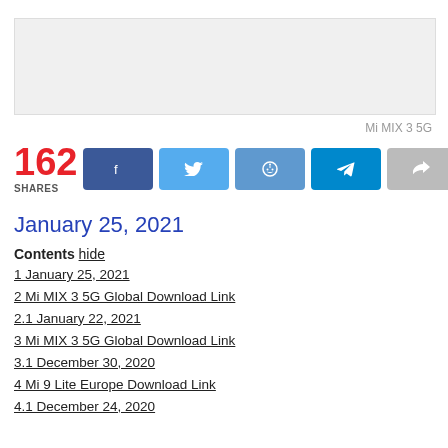[Figure (photo): Gray placeholder image area at top of page]
Mi MIX 3 5G
162 SHARES
January 25, 2021
Contents hide
1 January 25, 2021
2 Mi MIX 3 5G Global Download Link
2.1 January 22, 2021
3 Mi MIX 3 5G Global Download Link
3.1 December 30, 2020
4 Mi 9 Lite Europe Download Link
4.1 December 24, 2020